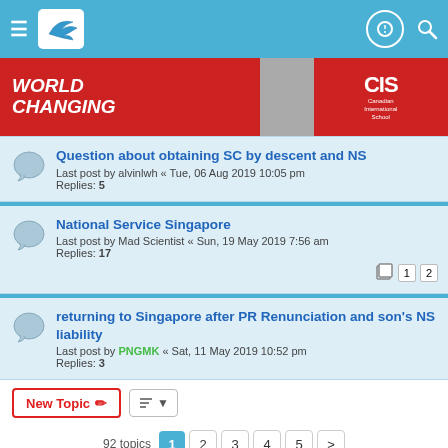Forum header navigation bar
[Figure (screenshot): CIS Canadian International School advertisement banner with red background and WORLD CHANGING text]
Question about obtaining SC by descent and NS
Last post by alvinlwh « Tue, 06 Aug 2019 10:05 pm
Replies: 5
National Service Singapore
Last post by Mad Scientist « Sun, 19 May 2019 7:56 am
Replies: 17 (pages 1, 2)
returning to Singapore after PR Renunciation and son's NS liability
Last post by PNGMK « Sat, 11 May 2019 10:52 pm
Replies: 3
New Topic  |  sort  |  92 topics  1  2  3  4  5  >
Social share bar: WhatsApp, Add, Twitter, Facebook, WeChat